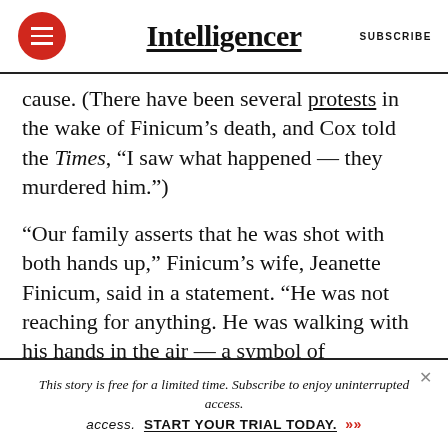Intelligencer | SUBSCRIBE
cause. (There have been several protests in the wake of Finicum’s death, and Cox told the Times, “I saw what happened — they murdered him.”)
“Our family asserts that he was shot with both hands up,” Finicum’s wife, Jeanette Finicum, said in a statement. “He was not reaching for anything. He was walking with his hands in the air — a symbol of surrender.”
NYT ↗   THE GUARDIAN ↗
This story is free for a limited time. Subscribe to enjoy uninterrupted access. START YOUR TRIAL TODAY. »